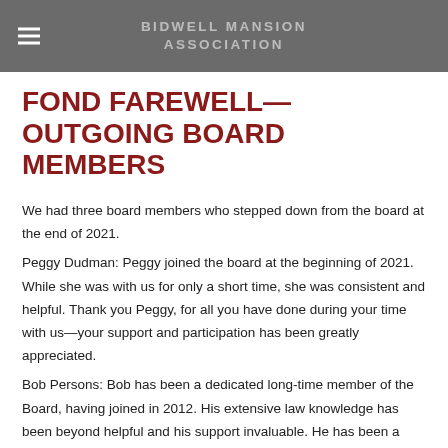BIDWELL MANSION ASSOCIATION
FOND FAREWELL—OUTGOING BOARD MEMBERS
We had three board members who stepped down from the board at the end of 2021.
Peggy Dudman: Peggy joined the board at the beginning of 2021. While she was with us for only a short time, she was consistent and helpful. Thank you Peggy, for all you have done during your time with us—your support and participation has been greatly appreciated.
Bob Persons: Bob has been a dedicated long-time member of the Board, having joined in 2012. His extensive law knowledge has been beyond helpful and his support invaluable. He has been a steadfast